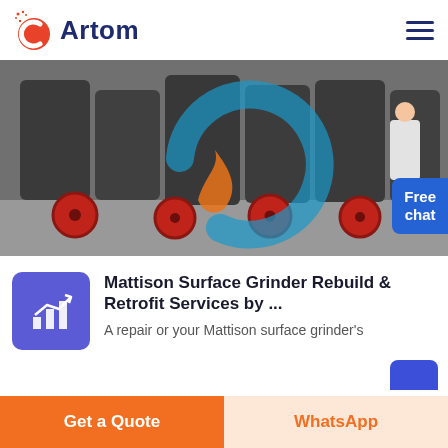[Figure (logo): Artom logo with orange/red 'C' icon and dark blue 'Artom' wordmark]
[Figure (photo): Industrial surface grinders/machinery in a factory setting, black and white heavy equipment with red wheels, overlaid with a blue and orange circular logo watermark and a Free chat button]
Mattison Surface Grinder Rebuild & Retrofit Services by ...
A repair or your Mattison surface grinder's
Get a Quote
WhatsApp